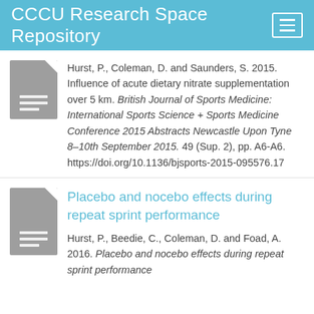CCCU Research Space Repository
Hurst, P., Coleman, D. and Saunders, S. 2015. Influence of acute dietary nitrate supplementation over 5 km. British Journal of Sports Medicine: International Sports Science + Sports Medicine Conference 2015 Abstracts Newcastle Upon Tyne 8–10th September 2015. 49 (Sup. 2), pp. A6-A6. https://doi.org/10.1136/bjsports-2015-095576.17
Placebo and nocebo effects during repeat sprint performance
Hurst, P., Beedie, C., Coleman, D. and Foad, A. 2016. Placebo and nocebo effects during repeat sprint performance